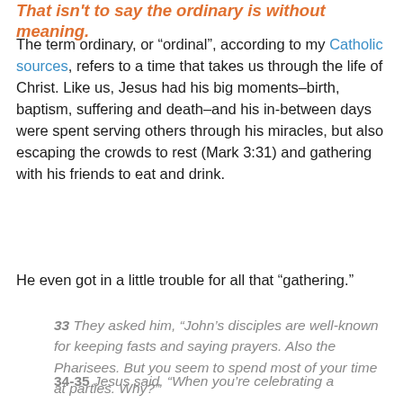That isn't to say the ordinary is without meaning.
The term ordinary, or “ordinal”, according to my Catholic sources, refers to a time that takes us through the life of Christ. Like us, Jesus had his big moments–birth, baptism, suffering and death–and his in-between days were spent serving others through his miracles, but also escaping the crowds to rest (Mark 3:31) and gathering with his friends to eat and drink.
He even got in a little trouble for all that “gathering.”
33 They asked him, “John’s disciples are well-known for keeping fasts and saying prayers. Also the Pharisees. But you seem to spend most of your time at parties. Why?”
34-35 Jesus said, “When you’re celebrating a wedding...